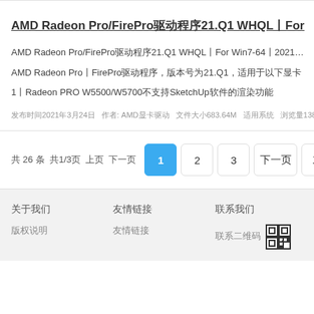AMD Radeon Pro/FirePro驱动程序21.Q1 WHQL丨For…
AMD Radeon Pro/FirePro驱动程序21.Q1 WHQL丨For Win7-64丨2021…
AMD Radeon Pro丨FirePro驱动程序，版本号为21.Q1，适用于以下显卡
1丨Radeon PRO W5500/W5700不支持SketchUp软件的渲染功能
发布时间2021年3月24日   作者: AMD显卡驱动   文件大小683.64M   适用系统   浏览量138次   下载…
共 26 条 共1/3页  上页  下一页   1  2  3  下一页  末页
关于我们
友情链接
联系我们
版权说明
友情链接
联系二维码